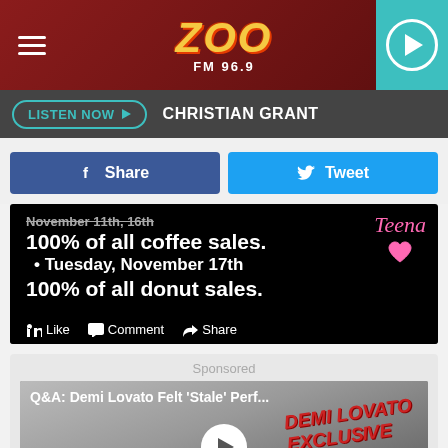ZOO FM 96.9
LISTEN NOW  CHRISTIAN GRANT
[Figure (screenshot): Facebook Share and Tweet buttons row]
[Figure (screenshot): Promotional image: 100% of all coffee sales. Tuesday, November 17th. 100% of all donut sales. With Like, Comment, Share buttons and teen signature graphic.]
Sponsored
[Figure (screenshot): Video thumbnail: Q&A: Demi Lovato Felt 'Stale' Perf... with Demi Lovato Exclusive stamp, play button, and NEXT button. on Newz Online.]